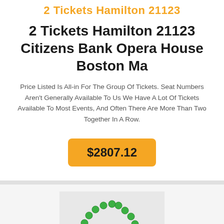2 Tickets Hamilton 21123
2 Tickets Hamilton 21123 Citizens Bank Opera House Boston Ma
Price Listed Is All-in For The Group Of Tickets. Seat Numbers Aren't Generally Available To Us We Have A Lot Of Tickets Available To Most Events, And Often There Are More Than Two Together In A Row.
$2807.12
[Figure (photo): A hand holding a green beaded necklace with gold accent beads, photographed against a white background.]